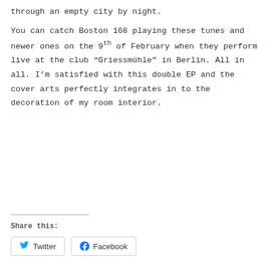through an empty city by night.
You can catch Boston 168 playing these tunes and newer ones on the 9th of February when they perform live at the club “Griessmühle” in Berlin. All in all. I’m satisfied with this double EP and the cover arts perfectly integrates in to the decoration of my room interior.
Share this: